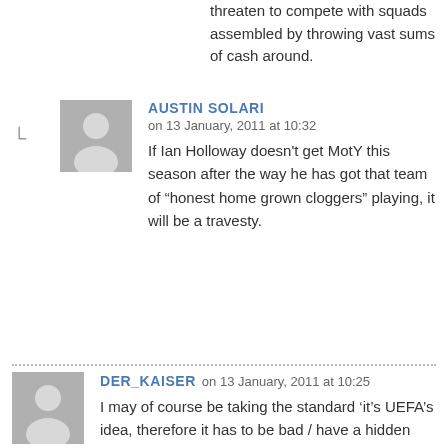threaten to compete with squads assembled by throwing vast sums of cash around.
AUSTIN SOLARI
on 13 January, 2011 at 10:32
If Ian Holloway doesn't get MotY this season after the way he has got that team of "honest home grown cloggers" playing, it will be a travesty.
DER_KAISER on 13 January, 2011 at 10:25
I may of course be taking the standard 'it's UEFA's idea, therefore it has to be bad / have a hidden agenda' position incorrectly in this instance, but it generally stems from the belief that it is little business of anyone else as to how an individual or a company spends its money, however big a mess they got themselves